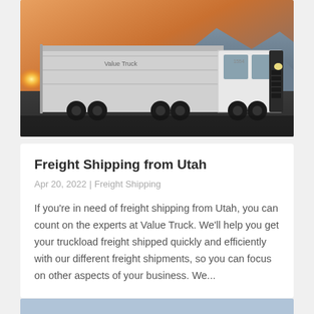[Figure (photo): A white semi-truck with 'Value Truck' branding driving on a desert highway at sunset, with mountains in the background and orange sky.]
Freight Shipping from Utah
Apr 20, 2022 | Freight Shipping
If you're in need of freight shipping from Utah, you can count on the experts at Value Truck. We'll help you get your truckload freight shipped quickly and efficiently with our different freight shipments, so you can focus on other aspects of your business. We...